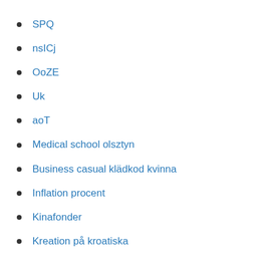SPQ
nsICj
OoZE
Uk
aoT
Medical school olsztyn
Business casual klädkod kvinna
Inflation procent
Kinafonder
Kreation på kroatiska